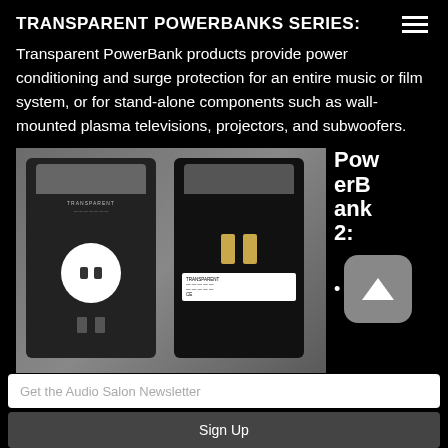TRANSPARENT POWERBANKS SERIES:
Transparent PowerBank products provide power conditioning and surge protection for an entire music or film system, or for stand-alone components such as wall-mounted plasma televisions, projectors, and subwoofers.
[Figure (photo): Photo of two Transparent PowerBank 2 devices shown from front and back/side angles against a gray background. Left device shows front with outlet. Right device shows back with plug prongs and label.]
PowerBank 2:
Get the Audio Salon Newsletter
Sign Up